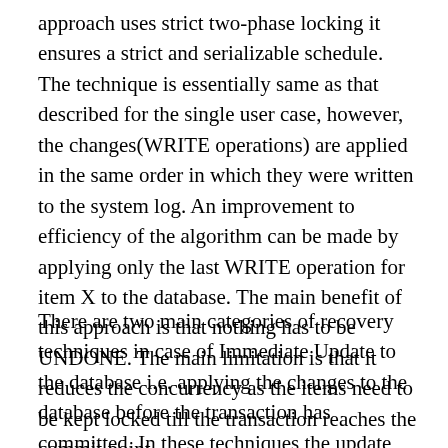approach uses strict two-phase locking it ensures a strict and serializable schedule. The technique is essentially same as that described for the single user case, however, the changes(WRITE operations) are applied in the same order in which they were written to the system log. An improvement to efficiency of the algorithm can be made by applying only the last WRITE operation for item X to the database. The main benefit of this approach is that nothing has to be UNDONE. The main limitation is that it reduces the concurrency as the items need to be kept locked till the transaction reaches the commit point.
There are two main categories of recovery techniques in case of Immediate Update to the database i.e. applying the changes to the database before the transaction has committed. In these techniques the update has to be recorded in the log